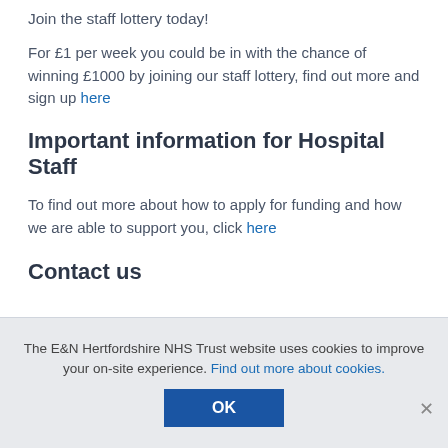Join the staff lottery today!
For £1 per week you could be in with the chance of winning £1000 by joining our staff lottery, find out more and sign up here
Important information for Hospital Staff
To find out more about how to apply for funding and how we are able to support you, click here
Contact us
The E&N Hertfordshire NHS Trust website uses cookies to improve your on-site experience. Find out more about cookies.